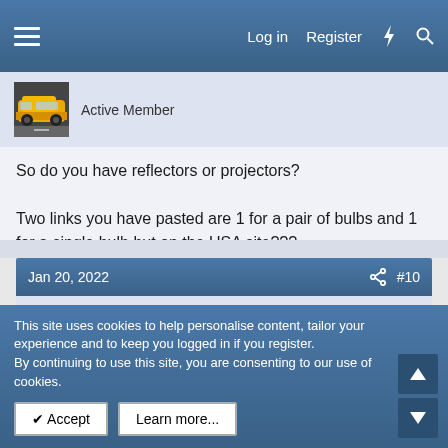Log in  Register
[Figure (photo): Partial user avatar showing yellow car, labeled Active Member]
So do you have reflectors or projectors?

Two links you have pasted are 1 for a pair of bulbs and 1 for a single bulb but on the USA site???
Jan 20, 2022  #10
[Figure (photo): User avatar showing person in hi-vis jacket, username angelsdisco, New Member]
This site uses cookies to help personalise content, tailor your experience and to keep you logged in if you register.
By continuing to use this site, you are consenting to our use of cookies.
Accept  Learn more...